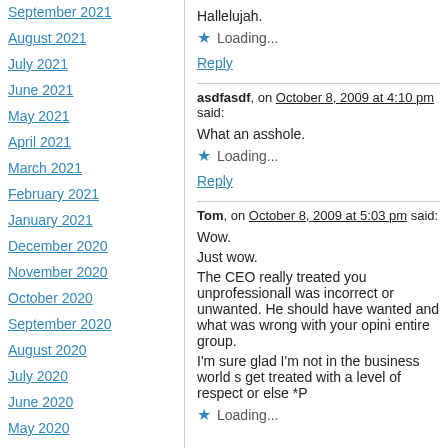September 2021
August 2021
July 2021
June 2021
May 2021
April 2021
March 2021
February 2021
January 2021
December 2020
November 2020
October 2020
September 2020
August 2020
July 2020
June 2020
May 2020
Hallelujah.
Loading...
Reply
asdfasdf, on October 8, 2009 at 4:10 pm said:
What an asshole.
Loading...
Reply
Tom, on October 8, 2009 at 5:03 pm said:
Wow.
Just wow.
The CEO really treated you unprofessionally, was incorrect or unwanted. He should have wanted and what was wrong with your opinion entire group.
I'm sure glad I'm not in the business world s get treated with a level of respect or else *P
Loading...